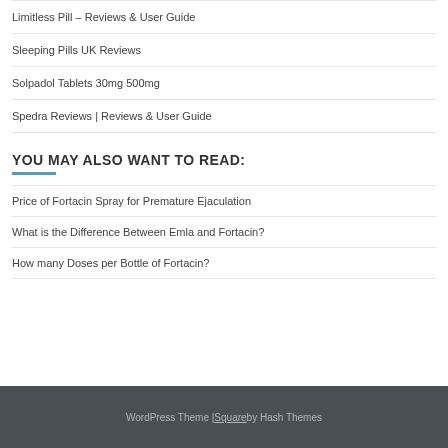Limitless Pill – Reviews & User Guide
Sleeping Pills UK Reviews
Solpadol Tablets 30mg 500mg
Spedra Reviews | Reviews & User Guide
YOU MAY ALSO WANT TO READ:
Price of Fortacin Spray for Premature Ejaculation
What is the Difference Between Emla and Fortacin?
How many Doses per Bottle of Fortacin?
WordPress Theme | Square by Hash Themes